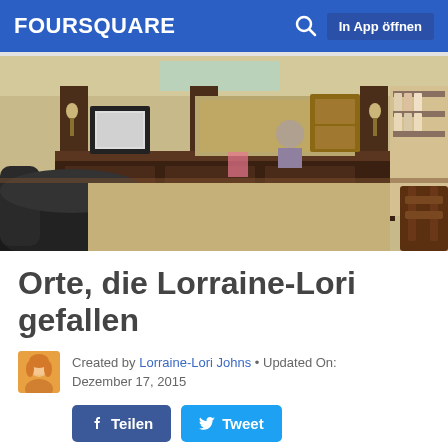FOURSQUARE  In App öffnen
[Figure (photo): Interior photo of a salon or spa reception area showing a dark wood reception desk, framed artwork on wall, leather chair in foreground, wooden chairs in background, and product display shelves on the right wall.]
Orte, die Lorraine-Lori gefallen
Created by Lorraine-Lori Johns • Updated On: Dezember 17, 2015
Teilen  Tweet